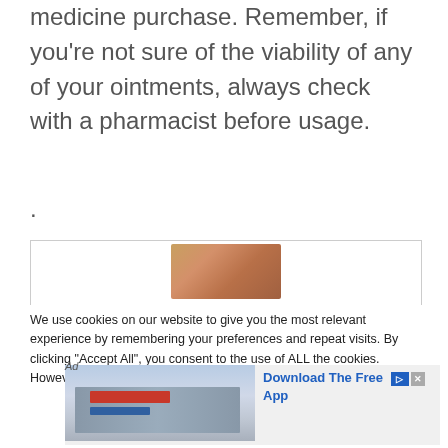medicine purchase. Remember, if you're not sure of the viability of any of your ointments, always check with a pharmacist before usage.
.
[Figure (photo): Partial photo of a person's face visible in a bordered box]
We use cookies on our website to give you the most relevant experience by remembering your preferences and repeat visits. By clicking "Accept All", you consent to the use of ALL the cookies. However, you may visit "Cookie Settings" to
[Figure (photo): Advertisement showing a Precision Auto Care building exterior with Download The Free App text]
Ad